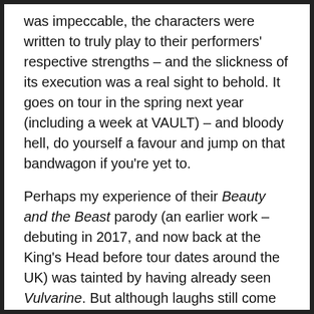was impeccable, the characters were written to truly play to their performers' respective strengths – and the slickness of its execution was a real sight to behold. It goes on tour in the spring next year (including a week at VAULT) – and bloody hell, do yourself a favour and jump on that bandwagon if you're yet to.
Perhaps my experience of their Beauty and the Beast parody (an earlier work – debuting in 2017, and now back at the King's Head before tour dates around the UK) was tainted by having already seen Vulvarine. But although laughs still come thick and fast in this gender-swapped, self-consciously 'scrappy' 100 minutes – and the company's unique and endearingly anarchic style still shines through – for me, it seemed a bit pale in comparison.
There's still the sublimely barmy lines that make